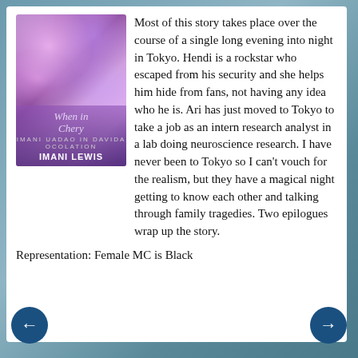[Figure (illustration): Book cover for a novel, showing bokeh purple and pink lights with tree branches, titled with cursive text and author name IMANI LEWIS at the bottom.]
Most of this story takes place over the course of a single long evening into night in Tokyo. Hendi is a rockstar who escaped from his security and she helps him hide from fans, not having any idea who he is. Ari has just moved to Tokyo to take a job as an intern research analyst in a lab doing neuroscience research. I have never been to Tokyo so I can't vouch for the realism, but they have a magical night getting to know each other and talking through family tragedies. Two epilogues wrap up the story.
Representation: Female MC is Black